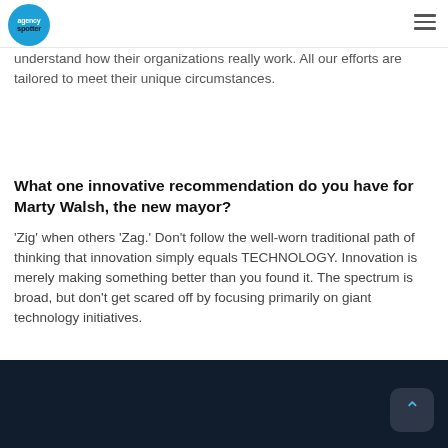agencyspotter
able if our clients can fully embrace and support our efforts. We get to know our clients as people and understand how their organizations really work. All our efforts are tailored to meet their unique circumstances.
What one innovative recommendation do you have for Marty Walsh, the new mayor?
'Zig' when others 'Zag.' Don't follow the well-worn traditional path of thinking that innovation simply equals TECHNOLOGY. Innovation is merely making something better than you found it. The spectrum is broad, but don't get scared off by focusing primarily on giant technology initiatives.
[Figure (photo): Dark background image panel at the bottom of the page with a scroll-to-top button (chevron icon in a rounded dark rectangle) in the lower right corner.]